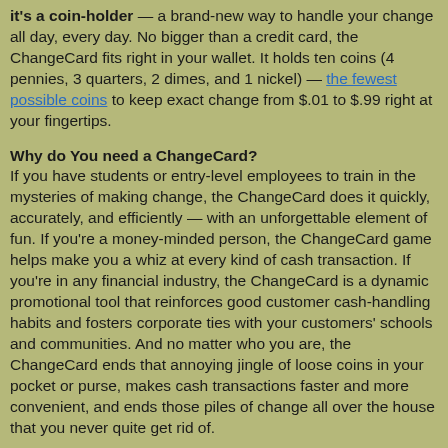it's a coin-holder — a brand-new way to handle your change all day, every day. No bigger than a credit card, the ChangeCard fits right in your wallet. It holds ten coins (4 pennies, 3 quarters, 2 dimes, and 1 nickel) — the fewest possible coins to keep exact change from $.01 to $.99 right at your fingertips.
Why do You need a ChangeCard?
If you have students or entry-level employees to train in the mysteries of making change, the ChangeCard does it quickly, accurately, and efficiently — with an unforgettable element of fun. If you're a money-minded person, the ChangeCard game helps make you a whiz at every kind of cash transaction. If you're in any financial industry, the ChangeCard is a dynamic promotional tool that reinforces good customer cash-handling habits and fosters corporate ties with your customers' schools and communities. And no matter who you are, the ChangeCard ends that annoying jingle of loose coins in your pocket or purse, makes cash transactions faster and more convenient, and ends those piles of change all over the house that you never quite get rid of.
How do you use a ChangeCard?
It's easy! When it's full of coins, the ChangeCard puts exact change for any purchase right at your fingertips. And when it's